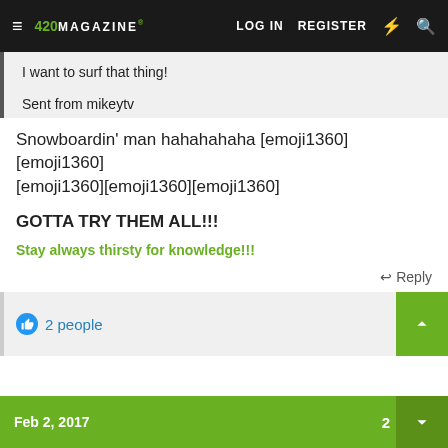420 MAGAZINE® | LOG IN | REGISTER
I want to surf that thing!
Sent from mikeytv
Snowboardin' man hahahahaha [emoji1360][emoji1360][emoji1360][emoji1360][emoji1360]
GOTTA TRY THEM ALL!!!
Stay always thirsty for knowledge!!!
↩ Reply
👍 2 people
Feb 2, 2017  2